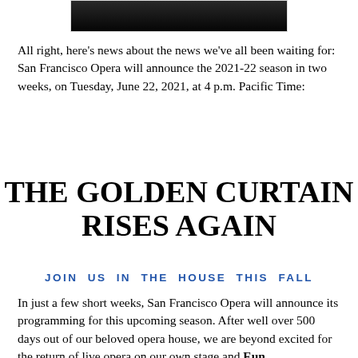[Figure (photo): Dark stage or curtain image at the top of the page, partially visible]
All right, here's news about the news we've all been waiting for: San Francisco Opera will announce the 2021-22 season in two weeks, on Tuesday, June 22, 2021, at 4 p.m. Pacific Time:
THE GOLDEN CURTAIN RISES AGAIN
JOIN US IN THE HOUSE THIS FALL
In just a few short weeks, San Francisco Opera will announce its programming for this upcoming season. After well over 500 days out of our beloved opera house, we are beyond excited for the return of live opera on our own stage and Eun